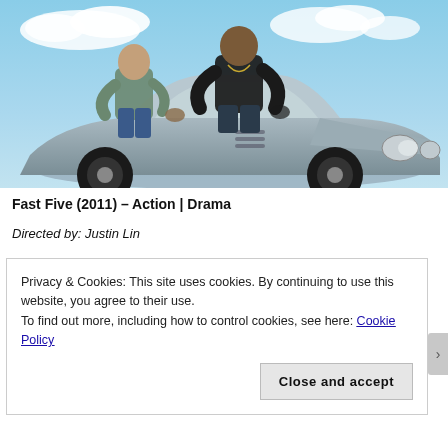[Figure (photo): Two men crouching on top of a silver sports car (Corvette style) against a blue sky with clouds. One man wears a grey-green shirt and jeans, the other wears a black sleeveless top.]
Fast Five (2011) – Action | Drama
Directed by: Justin Lin
Privacy & Cookies: This site uses cookies. By continuing to use this website, you agree to their use.
To find out more, including how to control cookies, see here: Cookie Policy
Close and accept